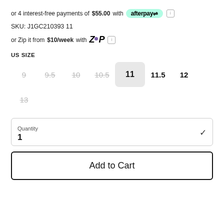or 4 interest-free payments of $55.00 with [Afterpay logo] [info icon]
SKU: J1GC210393 11
or Zip it from $10/week with [Zip logo] [info icon]
US SIZE
Size options: 9 (strikethrough), 9.5 (strikethrough), 10 (strikethrough), 10.5 (strikethrough), 11 (selected/active), 11.5, 12, 13 (strikethrough)
Quantity
1
Add to Cart